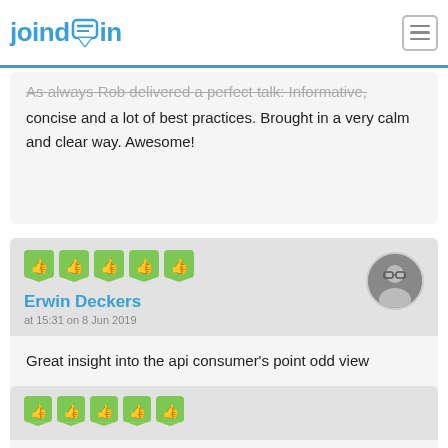joindin
As always Rob delivered a perfect talk: Informative, concise and a lot of best practices. Brought in a very calm and clear way. Awesome!
[Figure (illustration): Five green thumbs-up speech bubble icons representing a 5-star rating]
Erwin Deckers
at 15:31 on 8 Jun 2019
[Figure (photo): Round avatar photo of Erwin Deckers, a person wearing glasses]
Great insight into the api consumer's point odd view
[Figure (illustration): Five green thumbs-up speech bubble icons representing a 5-star rating]